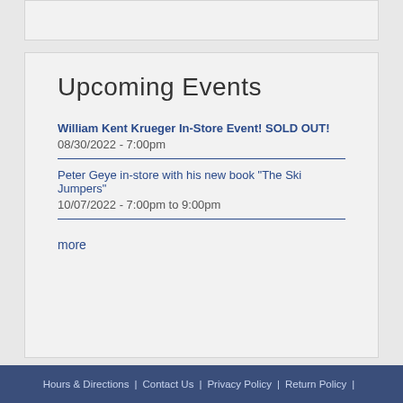Upcoming Events
William Kent Krueger In-Store Event! SOLD OUT!
08/30/2022 - 7:00pm
Peter Geye in-store with his new book "The Ski Jumpers"
10/07/2022 - 7:00pm to 9:00pm
more
Hours & Directions | Contact Us | Privacy Policy | Return Policy |